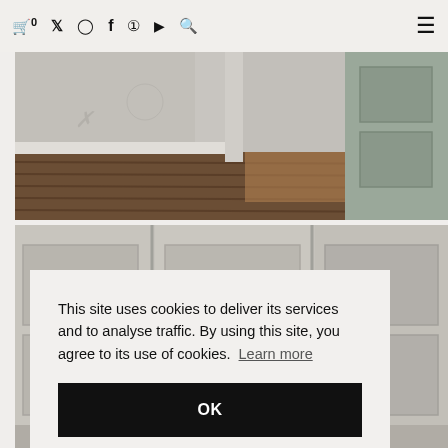🛒 0  𝕩  📷  f  𝗣  ▶  🔍  ☰
[Figure (photo): Interior room with bare white/grey walls, wooden floorboards in poor condition, and a grey painted door partially visible on the right side.]
[Figure (photo): Interior view of old built-in cupboards or wardrobes with light grey/cream painted panels, heavily worn, before renovation.]
This site uses cookies to deliver its services and to analyse traffic. By using this site, you agree to its use of cookies.  Learn more
OK